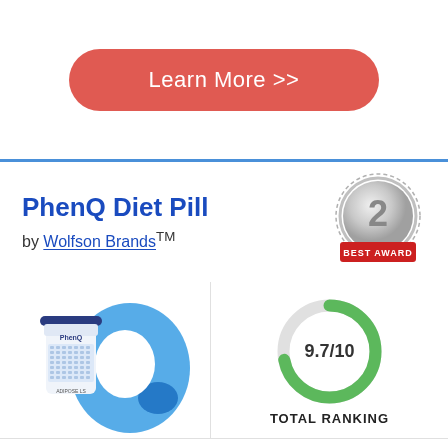[Figure (other): Red rounded rectangle button with white text 'Learn More >>']
PhenQ Diet Pill
by Wolfson Brands™
[Figure (other): Silver medal badge with number 2 and red ribbon saying BEST AWARD]
[Figure (other): PhenQ supplement bottle with blue Q logo]
[Figure (donut-chart): Green circular ring chart showing score 9.7/10]